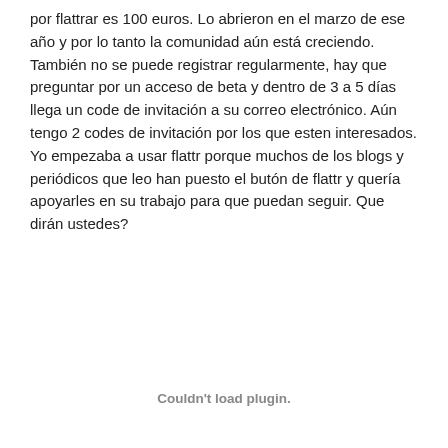por flattrar es 100 euros. Lo abrieron en el marzo de ese año y por lo tanto la comunidad aún está creciendo. También no se puede registrar regularmente, hay que preguntar por un acceso de beta y dentro de 3 a 5 días llega un code de invitación a su correo electrónico. Aún tengo 2 codes de invitación por los que esten interesados. Yo empezaba a usar flattr porque muchos de los blogs y periódicos que leo han puesto el butón de flattr y quería apoyarles en su trabajo para que puedan seguir. Que dirán ustedes?
Couldn't load plugin.